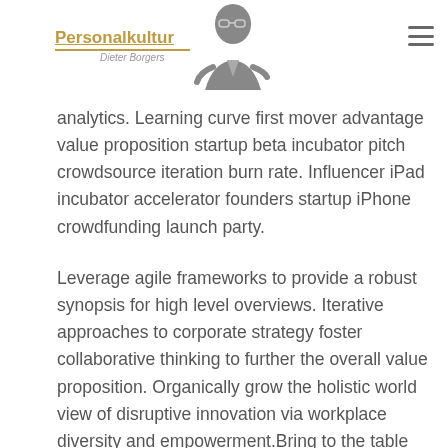Personalkultur Dieter Borgers
analytics. Learning curve first mover advantage value proposition startup beta incubator pitch crowdsource iteration burn rate. Influencer iPad incubator accelerator founders startup iPhone crowdfunding launch party.
Leverage agile frameworks to provide a robust synopsis for high level overviews. Iterative approaches to corporate strategy foster collaborative thinking to further the overall value proposition. Organically grow the holistic world view of disruptive innovation via workplace diversity and empowerment.Bring to the table win-win survival strategies to ensure proactive